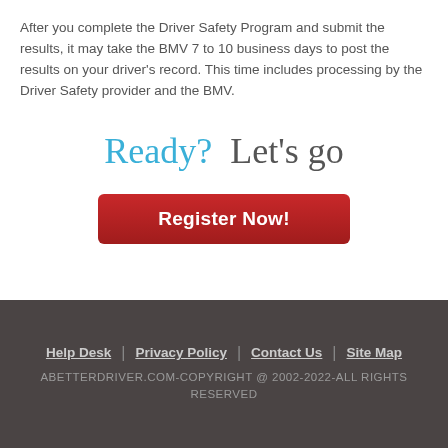After you complete the Driver Safety Program and submit the results, it may take the BMV 7 to 10 business days to post the results on your driver’s record. This time includes processing by the Driver Safety provider and the BMV.
Ready?  Let’s go
[Figure (other): Red rounded button with white bold text reading 'Register Now!']
Help Desk | Privacy Policy | Contact Us | Site Map
ABETTERDRIVER.COM-COPYRIGHT @ 2002-2022-ALL RIGHTS RESERVED